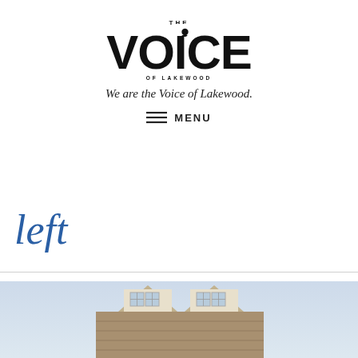[Figure (logo): The Voice of Lakewood logo — large bold sans-serif text reading THE VOICE OF LAKEWOOD with a dot replacing the tittle on the letter I]
We are the Voice of Lakewood.
≡ MENU
left
[Figure (photo): Photo of a miniature model house showing two dormer windows on a shingled roof against a light blue-grey background]